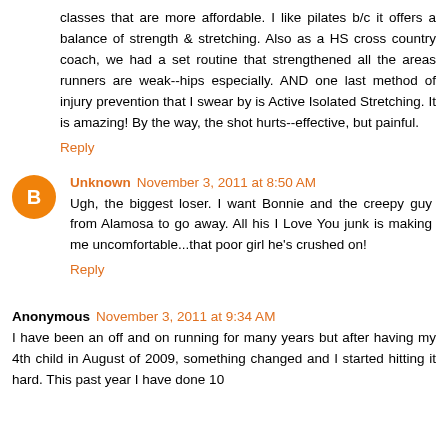classes that are more affordable. I like pilates b/c it offers a balance of strength & stretching. Also as a HS cross country coach, we had a set routine that strengthened all the areas runners are weak--hips especially. AND one last method of injury prevention that I swear by is Active Isolated Stretching. It is amazing! By the way, the shot hurts--effective, but painful.
Reply
Unknown November 3, 2011 at 8:50 AM
Ugh, the biggest loser. I want Bonnie and the creepy guy from Alamosa to go away. All his I Love You junk is making me uncomfortable...that poor girl he's crushed on!
Reply
Anonymous November 3, 2011 at 9:34 AM
I have been an off and on running for many years but after having my 4th child in August of 2009, something changed and I started hitting it hard. This past year I have done 10